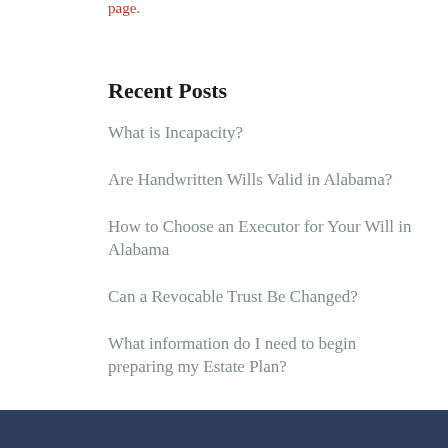page.
Recent Posts
What is Incapacity?
Are Handwritten Wills Valid in Alabama?
How to Choose an Executor for Your Will in Alabama
Can a Revocable Trust Be Changed?
What information do I need to begin preparing my Estate Plan?